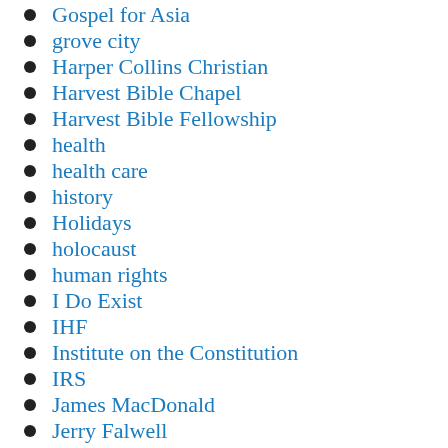Gospel for Asia
grove city
Harper Collins Christian
Harvest Bible Chapel
Harvest Bible Fellowship
health
health care
history
Holidays
holocaust
human rights
I Do Exist
IHF
Institute on the Constitution
IRS
James MacDonald
Jerry Falwell